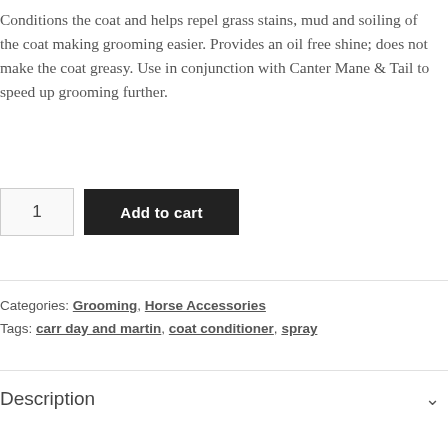Conditions the coat and helps repel grass stains, mud and soiling of the coat making grooming easier. Provides an oil free shine; does not make the coat greasy. Use in conjunction with Canter Mane & Tail to speed up grooming further.
1  Add to cart
Categories: Grooming, Horse Accessories
Tags: carr day and martin, coat conditioner, spray
Description